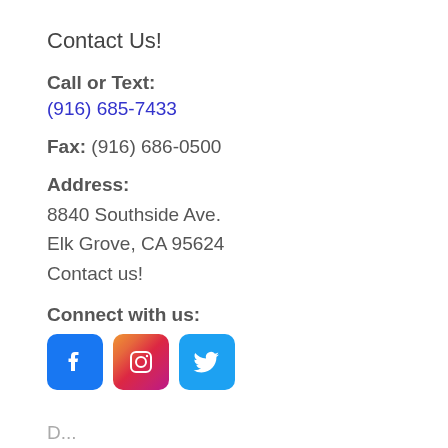Contact Us!
Call or Text:
(916) 685-7433
Fax: (916) 686-0500
Address:
8840 Southside Ave.
Elk Grove, CA 95624
Contact us!
Connect with us:
[Figure (logo): Social media icons: Facebook, Instagram, Twitter]
D...